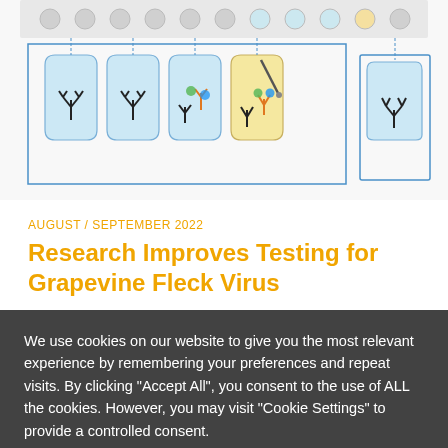[Figure (illustration): Scientific illustration showing an ELISA or antibody-based assay process: a microtiter plate at the top with wells, and below it, five beakers/containers showing sequential steps of an antibody binding assay. Beakers contain stylized Y-shaped antibodies (black), colored antibody conjugates (orange and green/teal), and a yellow/tan sample solution. Lines connect the wells to corresponding beakers.]
AUGUST / SEPTEMBER 2022
Research Improves Testing for Grapevine Fleck Virus
We use cookies on our website to give you the most relevant experience by remembering your preferences and repeat visits. By clicking "Accept All", you consent to the use of ALL the cookies. However, you may visit "Cookie Settings" to provide a controlled consent.
Cookie Settings
Accept All